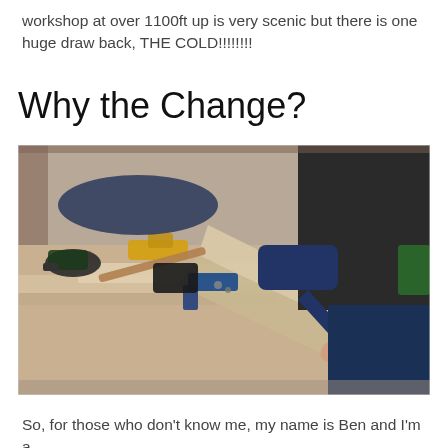workshop at over 1100ft up is very scenic but there is one huge draw back, THE COLD!!!!!!!!
Why the Change?
[Figure (photo): A person working in a woodworking workshop, handling a wooden plank on a workbench covered with various power tools including drills, a hammer, and clamps. The workshop has wooden walls and various materials scattered around.]
So, for those who don't know me, my name is Ben and I'm a